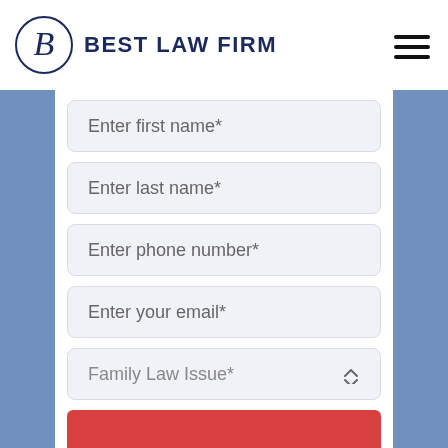[Figure (logo): Best Law Firm logo with stylized B in a circle and bold text 'BEST LAW FIRM']
Enter first name*
Enter last name*
Enter phone number*
Enter your email*
Family Law Issue*